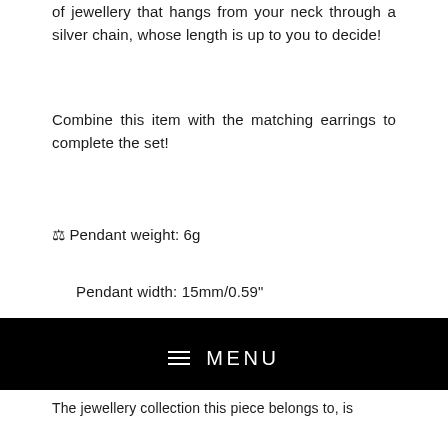of jewellery that hangs from your neck through a silver chain, whose length is up to you to decide!
Combine this item with the matching earrings to complete the set!
⚖ Pendant weight: 6g
Pendant width: 15mm/0.59"
Pendant height: 37mm/1.46"
Every piece of jewellery is delivered separately in an elegant gift box. Inside the package, you will find a
MENU
The jewellery collection this piece belongs to, is